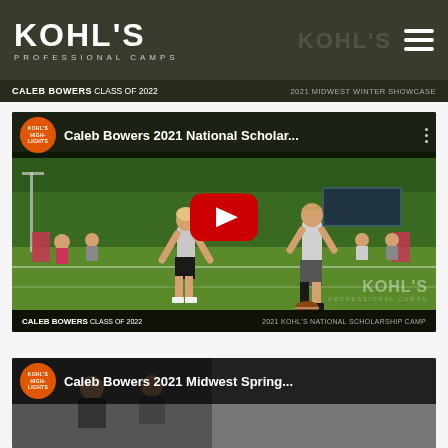Kohl's Professional Camps
CALEB BOWERS CLASS OF 2022  2021 MIDWEST WINTER SHOWCASE
[Figure (screenshot): YouTube video thumbnail for 'Caleb Bowers 2021 National Scholar...' showing two football players on a field with a red YouTube play button overlay. Kohl's Highlights orange circle logo in top-left. Bottom bar reads: CALEB BOWERS CLASS OF 2022  |  2021 KOHL'S NATIONAL SCHOLARSHIP CAMP]
[Figure (screenshot): Partial YouTube video thumbnail for 'Caleb Bowers 2021 Midwest Spring...' partially cut off at bottom of page]